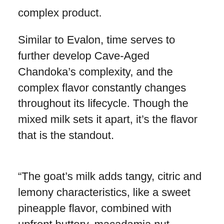complex product.
Similar to Evalon, time serves to further develop Cave-Aged Chandoka's complexity, and the complex flavor constantly changes throughout its lifecycle. Though the mixed milk sets it apart, it's the flavor that is the standout.
“The goat’s milk adds tangy, citric and lemony characteristics, like a sweet pineapple flavor, combined with upfront buttery, macadamia nut characteristics from the cow’s milk that ends with a lemony, grassy finish,” explains Rogers, touting the cheese’s unique qualities. “Cave-Aged Chandoka is moister than most bandage wraps, which limits how long the cheese can be aged, and this creates a